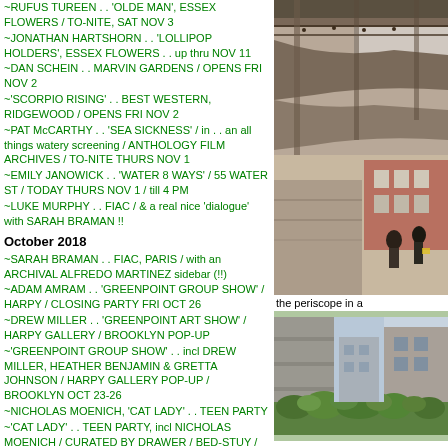~RUFUS TUREEN . . 'OLDE MAN', ESSEX FLOWERS / TO-NITE, SAT NOV 3
~JONATHAN HARTSHORN . . 'LOLLIPOP HOLDERS', ESSEX FLOWERS . . up thru NOV 11
~DAN SCHEIN . . MARVIN GARDENS / OPENS FRI NOV 2
~'SCORPIO RISING' . . BEST WESTERN, RIDGEWOOD / OPENS FRI NOV 2
~PAT McCARTHY . . 'SEA SICKNESS' / in . . an all things watery screening / ANTHOLOGY FILM ARCHIVES / TO-NITE THURS NOV 1
~EMILY JANOWICK . . 'WATER 8 WAYS' / 55 WATER ST / TODAY THURS NOV 1 / till 4 PM
~LUKE MURPHY . . FIAC / & a real nice 'dialogue' with SARAH BRAMAN !!
October 2018
~SARAH BRAMAN . . FIAC, PARIS / with an ARCHIVAL ALFREDO MARTINEZ sidebar (!!)
~ADAM AMRAM . . 'GREENPOINT GROUP SHOW' / HARPY / CLOSING PARTY FRI OCT 26
~DREW MILLER . . 'GREENPOINT ART SHOW' / HARPY GALLERY / BROOKLYN POP-UP
~'GREENPOINT GROUP SHOW' . . incl DREW MILLER, HEATHER BENJAMIN & GRETTA JOHNSON / HARPY GALLERY POP-UP / BROOKLYN OCT 23-26
~NICHOLAS MOENICH, 'CAT LADY' . . TEEN PARTY
~'CAT LADY' . . TEEN PARTY, incl NICHOLAS MOENICH / CURATED BY DRAWER / BED-STUY / OPENS SAT OCT 20
~GRETTA JOHNSON . .
~GRETTA JOHNSON . . POSTER / RHIZOME, D. C. / CONCERT: SAT OCT 20
~'NATE LOWMAN: NEVER REMEMBER' . . GAGOSIAN MADISON AVE / OPENS TO-NITE FRI OCT 19
~GREGORY KALLICHE . . New Video, 'FEAR FAIRE' / MARINARO / OPENS TO-NITE THURS OCT 18
~BOBO BLOW-OUT . . 'HELLBOX', 'FEAR FAIRE', MARINARO GALLERY / OPENS TO-NITE THURS OCT 18
~LUCIE RIE . . PHILLIPS AUCTION HOUSE
[Figure (photo): Architectural photo showing underside of a structure with metal/concrete elements and a person visible in background]
the periscope in a
[Figure (photo): Photo of building exterior with greenery/plants visible at bottom]